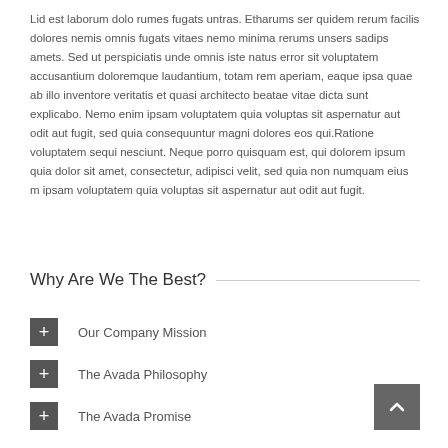Lid est laborum dolo rumes fugats untras. Etharums ser quidem rerum facilis dolores nemis omnis fugats vitaes nemo minima rerums unsers sadips amets. Sed ut perspiciatis unde omnis iste natus error sit voluptatem accusantium doloremque laudantium, totam rem aperiam, eaque ipsa quae ab illo inventore veritatis et quasi architecto beatae vitae dicta sunt explicabo. Nemo enim ipsam voluptatem quia voluptas sit aspernatur aut odit aut fugit, sed quia consequuntur magni dolores eos qui.Ratione voluptatem sequi nesciunt. Neque porro quisquam est, qui dolorem ipsum quia dolor sit amet, consectetur, adipisci velit, sed quia non numquam eius m ipsam voluptatem quia voluptas sit aspernatur aut odit aut fugit.
Why Are We The Best?
Our Company Mission
The Avada Philosophy
The Avada Promise